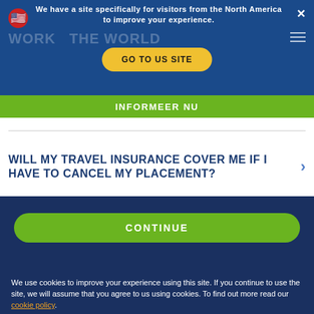We have a site specifically for visitors from the North America to improve your experience.
INFORMEER NU
WILL MY TRAVEL INSURANCE COVER ME IF I HAVE TO CANCEL MY PLACEMENT?
WHAT HAPPENS IF I BOOK AND I THEN CANNOT GO?
CONTINUE
We use cookies to improve your experience using this site. If you continue to use the site, we will assume that you agree to us using cookies. To find out more read our cookie policy.